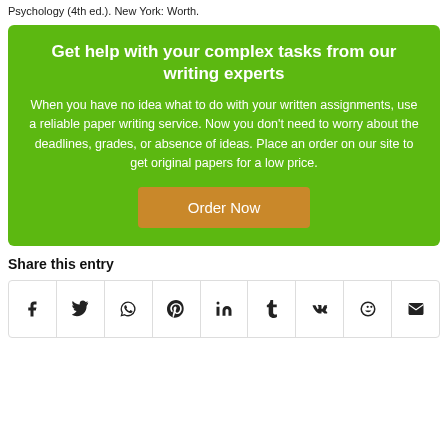Psychology (4th ed.). New York: Worth.
Get help with your complex tasks from our writing experts
When you have no idea what to do with your written assignments, use a reliable paper writing service. Now you don't need to worry about the deadlines, grades, or absence of ideas. Place an order on our site to get original papers for a low price.
Order Now
Share this entry
[Figure (other): Social share icons row: Facebook, Twitter, WhatsApp, Pinterest, LinkedIn, Tumblr, VK, Reddit, Email]